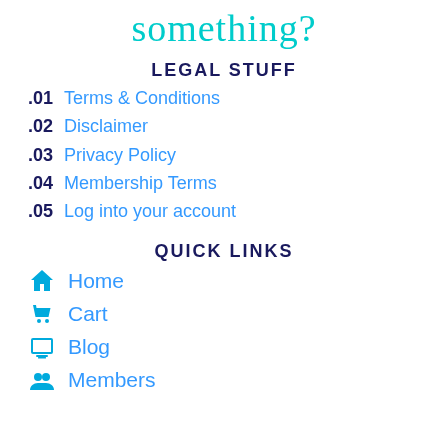something?
LEGAL STUFF
.01 Terms & Conditions
.02 Disclaimer
.03 Privacy Policy
.04 Membership Terms
.05 Log into your account
QUICK LINKS
Home
Cart
Blog
Members